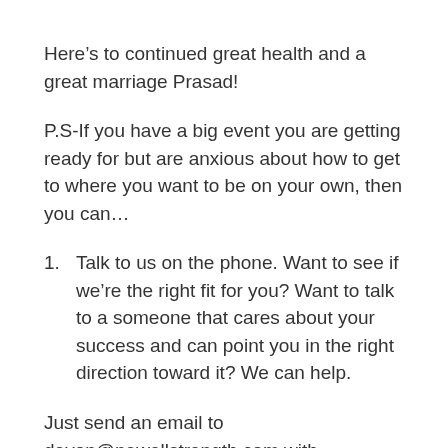Here’s to continued great health and a great marriage Prasad!
P.S-If you have a big event you are getting ready for but are anxious about how to get to where you want to be on your own, then you can…
1.    Talk to us on the phone. Want to see if we’re the right fit for you? Want to talk to a someone that cares about your success and can point you in the right direction toward it? We can help.
Just send an email to devon@newellstrength.com with